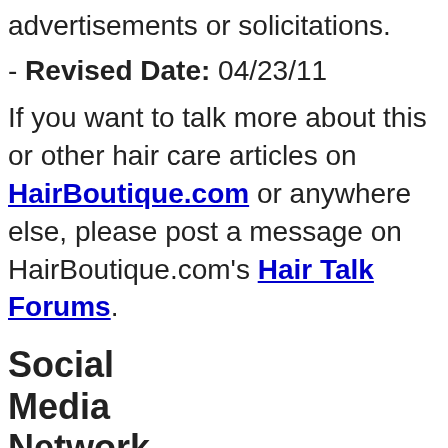advertisements or solicitations.
- Revised Date: 04/23/11
If you want to talk more about this or other hair care articles on HairBoutique.com or anywhere else, please post a message on HairBoutique.com's Hair Talk Forums.
Social Media Network Information
Please follow us on Twitter at: